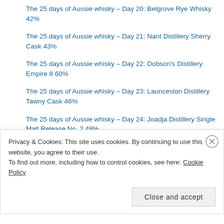The 25 days of Aussie whisky – Day 20: Belgrove Rye Whisky 42%
The 25 days of Aussie whisky – Day 21: Nant Distillery Sherry Cask 43%
The 25 days of Aussie whisky – Day 22: Dobson's Distillery Empire 8 60%
The 25 days of Aussie whisky – Day 23: Launceston Distillery Tawny Cask 46%
The 25 days of Aussie whisky – Day 24: Joadja Distillery Single Malt Release No. 2 48%
The 25 days of Aussie whisky – Day 25: Iniquity Batch 11 46%
Privacy & Cookies: This site uses cookies. By continuing to use this website, you agree to their use. To find out more, including how to control cookies, see here: Cookie Policy